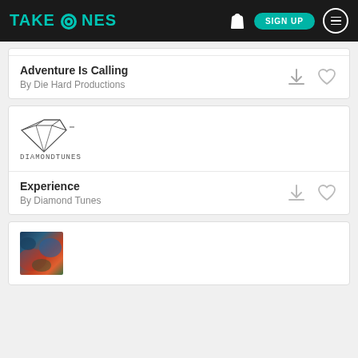TAKETONES
Adventure Is Calling
By Die Hard Productions
[Figure (logo): Diamond Tunes logo: geometric diamond illustration above text 'DIAMONDTUNES']
Experience
By Diamond Tunes
[Figure (photo): Colorful abstract painting thumbnail with blues, oranges, greens]